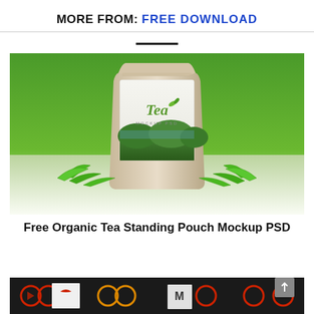MORE FROM: FREE DOWNLOAD
[Figure (photo): Organic tea standing pouch mockup with a beige kraft paper bag labeled 'Tea MOCKUP PSD' showing a tea plantation scene, surrounded by green leaves, on a green gradient background.]
Free Organic Tea Standing Pouch Mockup PSD
[Figure (photo): Bottom strip showing partial thumbnail images of other mockup designs on a dark/black background.]